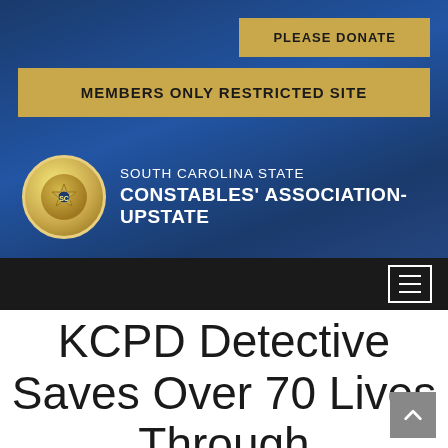[Figure (screenshot): Website header with dark navy blue gradient background]
PLEASE DONATE
MEMBERS ONLY RESTRICTED SITE
[Figure (logo): South Carolina State Constables Association-Upstate logo with gold badge/seal and white text]
[Figure (other): Dark navigation bar with hamburger menu icon (three white lines in white rectangle border)]
KCPD Detective Saves Over 70 Lives Through